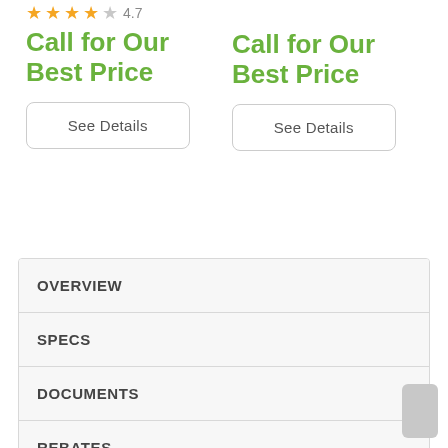★★★★☆ 4.7
Call for Our Best Price
See Details
Call for Our Best Price
See Details
OVERVIEW
SPECS
DOCUMENTS
REBATES
VIDEOS